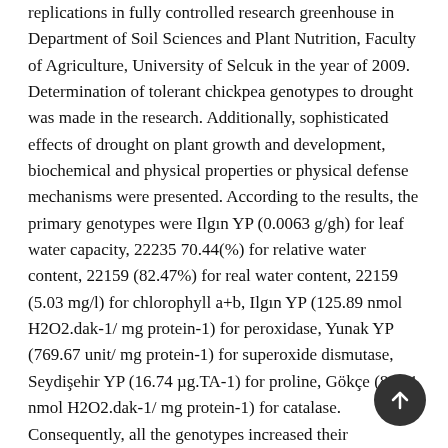replications in fully controlled research greenhouse in Department of Soil Sciences and Plant Nutrition, Faculty of Agriculture, University of Selcuk in the year of 2009. Determination of tolerant chickpea genotypes to drought was made in the research. Additionally, sophisticated effects of drought on plant growth and development, biochemical and physical properties or physical defense mechanisms were presented. According to the results, the primary genotypes were Ilgın YP (0.0063 g/gh) for leaf water capacity, 22235 70.44(%) for relative water content, 22159 (82.47%) for real water content, 22159 (5.03 mg/l) for chlorophyll a+b, Ilgın YP (125.89 nmol H2O2.dak-1/ mg protein-1) for peroxidase, Yunak YP (769.67 unit/ mg protein-1) for superoxide dismutase, Seydişehir YP (16.74 µg.TA-1) for proline, Gökçe (80.01 nmol H2O2.dak-1/ mg protein-1) for catalase. Consequently, all the genotypes increased their
[Figure (other): A circular dark grey button with an upward-pointing arrow icon (scroll-to-top button)]